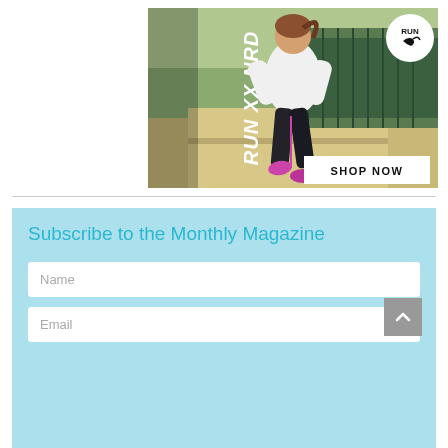[Figure (photo): Puma running advertisement showing a woman running outdoors in black leggings and white long-sleeve top with pink shoes. Text overlays: 'RUN XX NRD' vertically on left side, 'RUN' with Puma logo in a white circle badge top-right, 'SHOP NOW' button bottom-right.]
Subscribe to the Monthly Magazine
Name
Email